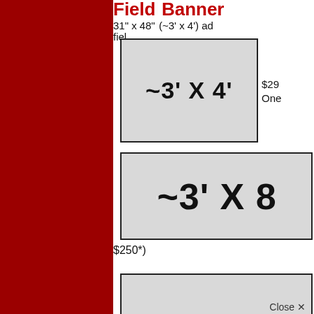31" x 48" (~3' x 4') ad field
[Figure (illustration): Gray rectangle sign mockup labeled ~3' X 4']
$29* One
[Figure (illustration): Gray rectangle sign mockup labeled ~3' X 8']
$250*)
[Figure (illustration): Gray rectangle sign mockup, partially visible at bottom with Close X button]